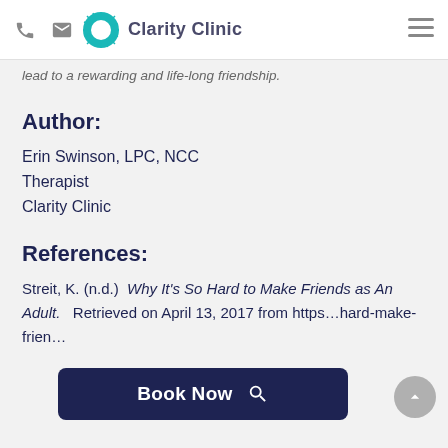Clarity Clinic
lead to a rewarding and life-long friendship.
Author:
Erin Swinson, LPC, NCC
Therapist
Clarity Clinic
References:
Streit, K. (n.d.)  Why It's So Hard to Make Friends as An Adult.   Retrieved on April 13, 2017 from https…hard-make-frien…